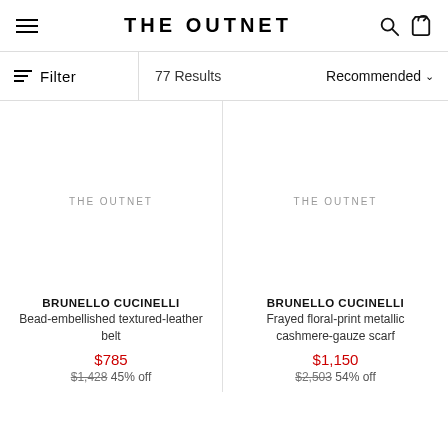THE OUTNET
Filter   77 Results   Recommended
THE OUTNET
BRUNELLO CUCINELLI
Bead-embellished textured-leather belt
$785
$1,428  45% off
THE OUTNET
BRUNELLO CUCINELLI
Frayed floral-print metallic cashmere-gauze scarf
$1,150
$2,503  54% off